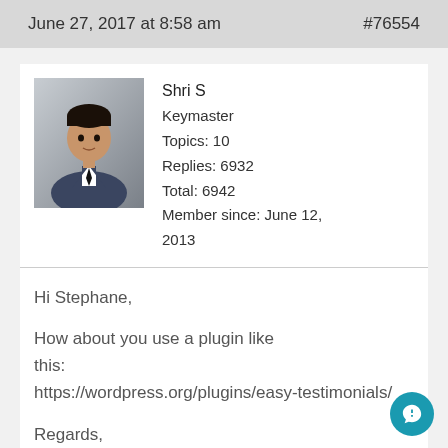June 27, 2017 at 8:58 am    #76554
[Figure (photo): Avatar photo of Shri S, a person in a blue suit]
Shri S
Keymaster
Topics: 10
Replies: 6932
Total: 6942
Member since: June 12, 2013
Hi Stephane,

How about you use a plugin like this:
https://wordpress.org/plugins/easy-testimonials/

Regards,